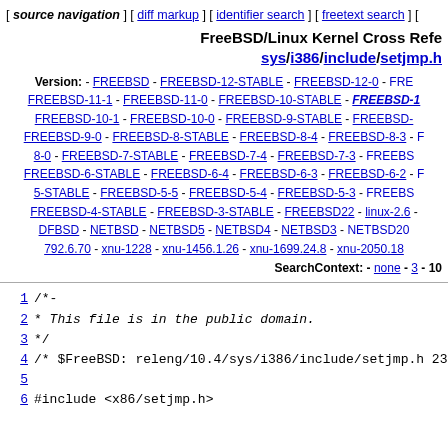[ source navigation ] [ diff markup ] [ identifier search ] [ freetext search ] [
FreeBSD/Linux Kernel Cross Reference sys/i386/include/setjmp.h
Version: - FREEBSD - FREEBSD-12-STABLE - FREEBSD-12-0 - FREEBSD-11-1 - FREEBSD-11-0 - FREEBSD-10-STABLE - FREEBSD-10-1 - FREEBSD-10-0 - FREEBSD-9-STABLE - FREEBSD-9-0 - FREEBSD-8-STABLE - FREEBSD-8-4 - FREEBSD-8-3 - 8-0 - FREEBSD-7-STABLE - FREEBSD-7-4 - FREEBSD-7-3 - FREEBSD-6-STABLE - FREEBSD-6-4 - FREEBSD-6-3 - FREEBSD-6-2 - 5-STABLE - FREEBSD-5-5 - FREEBSD-5-4 - FREEBSD-5-3 - FREEBSD-4-STABLE - FREEBSD-3-STABLE - FREEBSD22 - linux-2.6 - DFBSD - NETBSD - NETBSD5 - NETBSD4 - NETBSD3 - NETBSD20 - 792.6.70 - xnu-1228 - xnu-1456.1.26 - xnu-1699.24.8 - xnu-2050.18
SearchContext: - none - 3 - 10
1 /*-
2  * This file is in the public domain.
3  */
4 /* $FreeBSD: releng/10.4/sys/i386/include/setjmp.h 232
5 
6 #include <x86/setjmp.h>